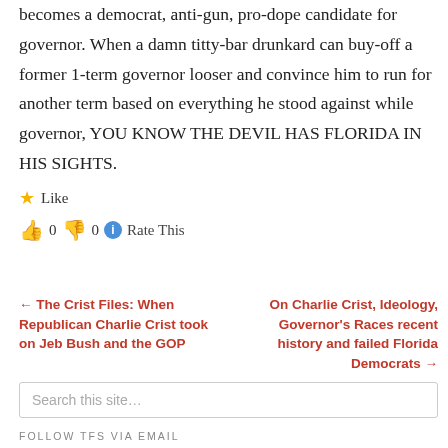becomes a democrat, anti-gun, pro-dope candidate for governor. When a damn titty-bar drunkard can buy-off a former 1-term governor looser and convince him to run for another term based on everything he stood against while governor, YOU KNOW THE DEVIL HAS FLORIDA IN HIS SIGHTS.
★ Like
👍 0 👎 0 ℹ Rate This
← The Crist Files: When Republican Charlie Crist took on Jeb Bush and the GOP
On Charlie Crist, Ideology, Governor's Races recent history and failed Florida Democrats →
Search this site…
FOLLOW TFS VIA EMAIL